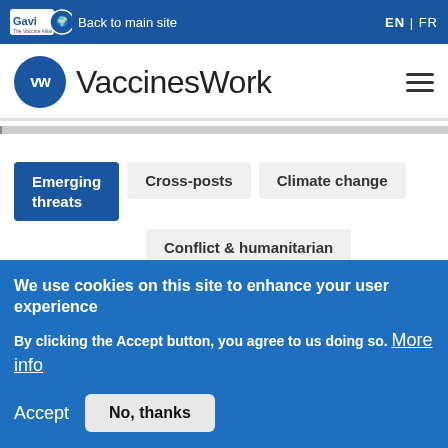Gavi The Vaccine Alliance | Back to main site | EN | FR
VaccinesWork
Emerging threats
Cross-posts
Climate change
Conflict & humanitarian
Under Clinate
We use cookies on this site to enhance your user experience
By clicking the Accept button, you agree to us doing so. More info
Accept   No, thanks